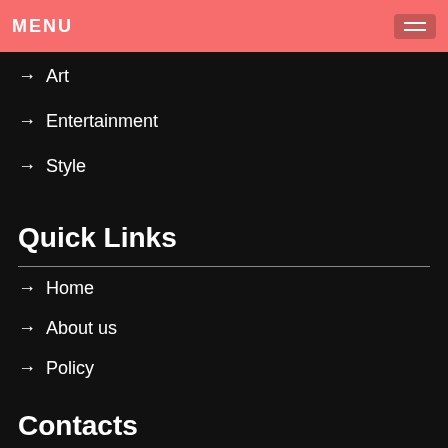MENU
→ Art
→ Entertainment
→ Style
Quick Links
→ Home
→ About us
→ Policy
Contacts